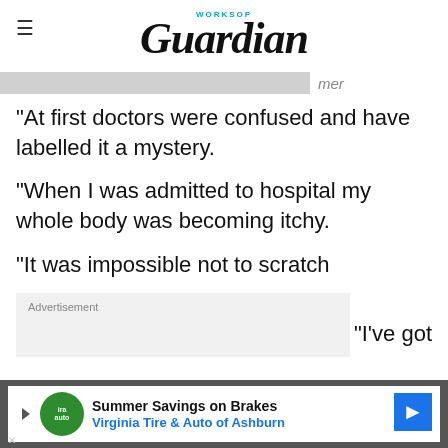Worksop Guardian
"At first doctors were confused and have labelled it a mystery.
"When I was admitted to hospital my whole body was becoming itchy.
"It was impossible not to scratch
"I've got
[Figure (other): Advertisement banner: Summer Savings on Brakes, Virginia Tire & Auto of Ashburn]